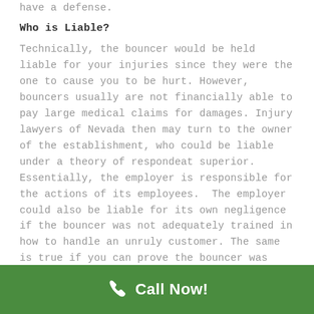have a defense.
Who is Liable?
Technically, the bouncer would be held liable for your injuries since they were the one to cause you to be hurt. However, bouncers usually are not financially able to pay large medical claims for damages. Injury lawyers of Nevada then may turn to the owner of the establishment, who could be liable under a theory of respondeat superior. Essentially, the employer is responsible for the actions of its employees. The employer could also be liable for its own negligence if the bouncer was not adequately trained in how to handle an unruly customer. The same is true if you can prove the bouncer was
Call Now!